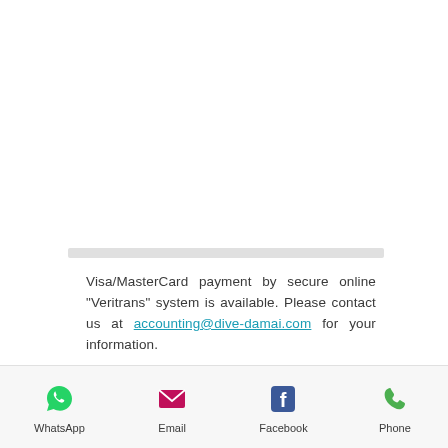Visa/MasterCard payment by secure online "Veritrans" system is available. Please contact us at accounting@dive-damai.com for your information.
For bank to bank telegraphic transfer, our account information is as below:
[Figure (infographic): Bottom navigation bar with four icons: WhatsApp (green phone in circle), Email (pink envelope), Facebook (blue F logo), Phone (green handset)]